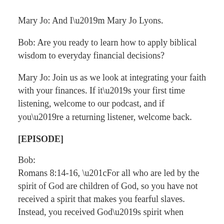Mary Jo: And I'm Mary Jo Lyons.
Bob: Are you ready to learn how to apply biblical wisdom to everyday financial decisions?
Mary Jo: Join us as we look at integrating your faith with your finances. If it's your first time listening, welcome to our podcast, and if you're a returning listener, welcome back.
[EPISODE]
Bob:
Romans 8:14-16, “For all who are led by the spirit of God are children of God, so you have not received a spirit that makes you fearful slaves. Instead, you received God’s spirit when